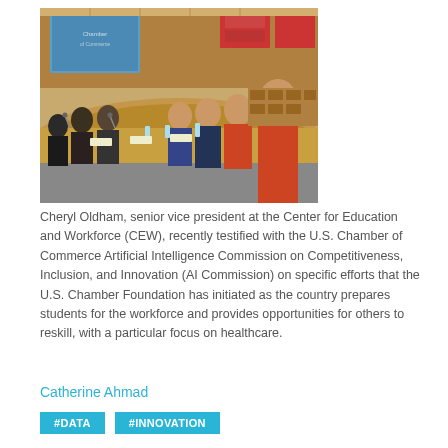[Figure (photo): A formal hearing or panel discussion in a wood-paneled auditorium/chamber. People seated at curved wooden desks with microphones, water bottles, and papers. A screen is visible in the background showing a presentation.]
Cheryl Oldham, senior vice president at the Center for Education and Workforce (CEW), recently testified with the U.S. Chamber of Commerce Artificial Intelligence Commission on Competitiveness, Inclusion, and Innovation (AI Commission) on specific efforts that the U.S. Chamber Foundation has initiated as the country prepares students for the workforce and provides opportunities for others to reskill, with a particular focus on healthcare.
Catherine Ahmad
#DATA   #INNOVATION